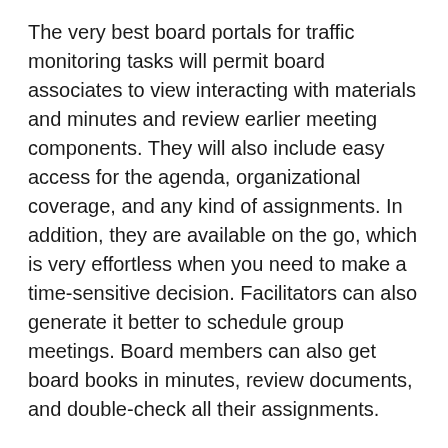The very best board portals for traffic monitoring tasks will permit board associates to view interacting with materials and minutes and review earlier meeting components. They will also include easy access for the agenda, organizational coverage, and any kind of assignments. In addition, they are available on the go, which is very effortless when you need to make a time-sensitive decision. Facilitators can also generate it better to schedule group meetings. Board members can also get board books in minutes, review documents, and double-check all their assignments.
Panel portal computer software helps corporations manage their very own daily activities by facilitating secure digital collaboration among board members. Some plank portals characteristic messaging functions, document storage, digital voting tools, and a platform pertaining to recording look at more info board achieving minutes. These board websites are